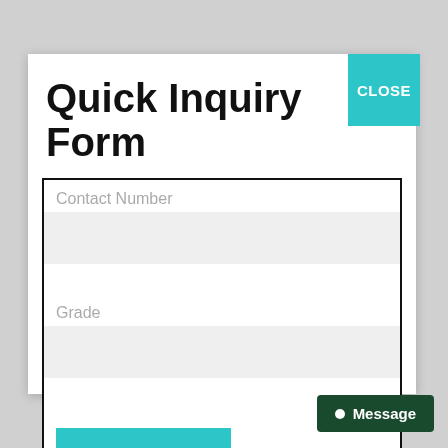Quick Inquiry Form
Contact Number
Grade
SEND
CLOSE
Message